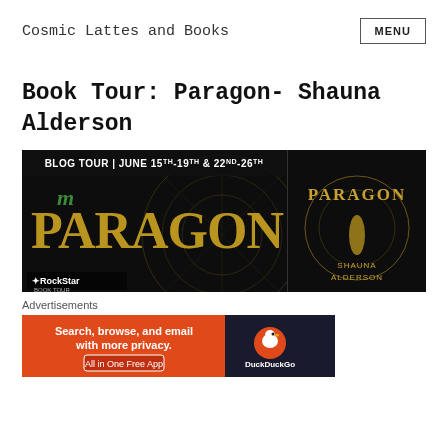Cosmic Lattes and Books
Book Tour: Paragon- Shauna Alderson
[Figure (illustration): Blog Tour banner for Paragon by Shauna Alderson. Dark background with large golden PARAGON text, a RockStar Book Tours logo at lower left, and the book cover on the right showing the title PARAGON and author SHAUNA ALDERSON. Header text reads: BLOG TOUR | JUNE 15TH-19TH & 22ND-26TH]
Advertisements
[Figure (illustration): DuckDuckGo advertisement banner: orange left side with text 'Search, browse, and email with more privacy. All in One Free App' and dark right side with DuckDuckGo logo and name.]